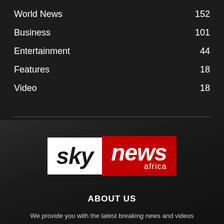World News  152
Business  101
Entertainment  44
Features  18
Video  18
[Figure (logo): Sky News Africa logo: white box with bold italic 'sky' in black, red box with bold italic 'news' in white and 'africa' below in smaller white text.]
ABOUT US
We provide you with the latest breaking news and videos